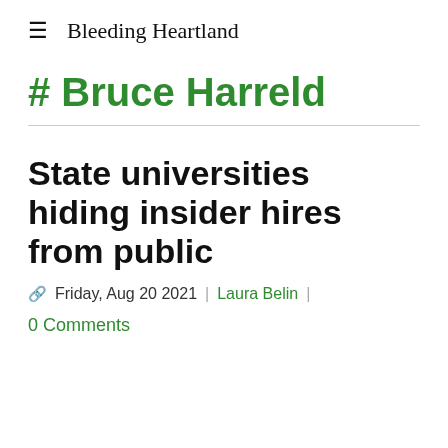≡  Bleeding Heartland
# Bruce Harreld
State universities hiding insider hires from public
🔗 Friday, Aug 20 2021 | Laura Belin |
0 Comments